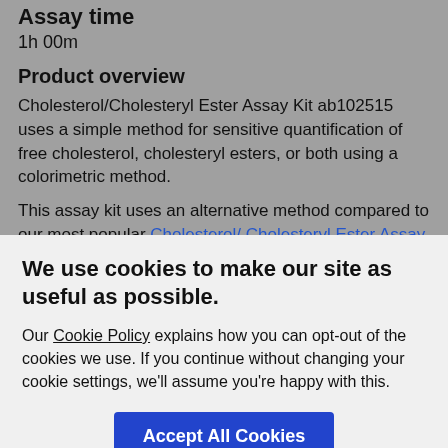Assay time
1h 00m
Product overview
Cholesterol/Cholesteryl Ester Assay Kit ab102515 uses a simple method for sensitive quantification of free cholesterol, cholesteryl esters, or both using a colorimetric method.
This assay kit uses an alternative method compared to our most popular Cholesterol/ Cholesteryl Ester Assay Kit ab65359 (which relies on a cholesterol oxidase based method).
We use cookies to make our site as useful as possible.
Our Cookie Policy explains how you can opt-out of the cookies we use. If you continue without changing your cookie settings, we'll assume you're happy with this.
Accept All Cookies